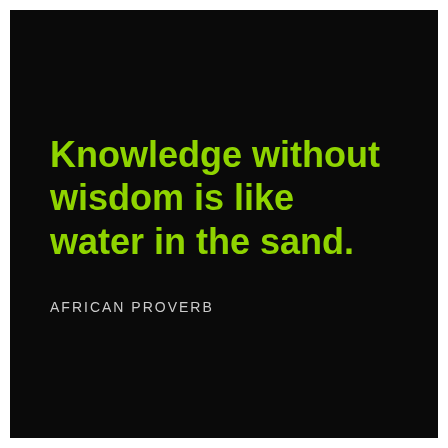Knowledge without wisdom is like water in the sand.
AFRICAN PROVERB